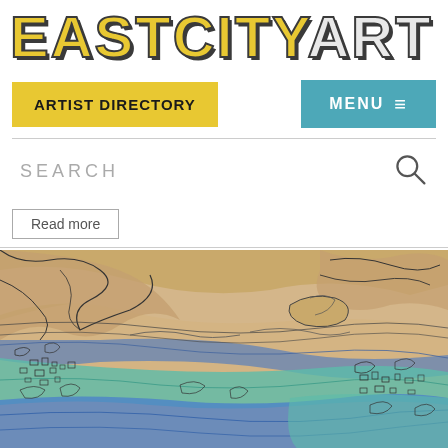EASTCITYART
ARTIST DIRECTORY
MENU ≡
SEARCH
Read more
[Figure (illustration): Colorful hand-drawn map/landscape illustration with contour lines showing terrain features, colored with blue, teal, and sandy/orange tones, with detailed ink line work suggesting buildings and natural features.]